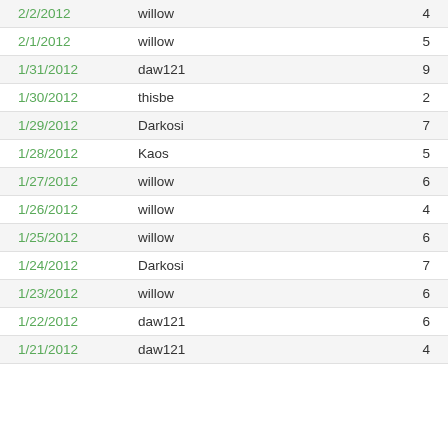| Date | User | Count |
| --- | --- | --- |
| 2/2/2012 | willow | 4 |
| 2/1/2012 | willow | 5 |
| 1/31/2012 | daw121 | 9 |
| 1/30/2012 | thisbe | 2 |
| 1/29/2012 | Darkosi | 7 |
| 1/28/2012 | Kaos | 5 |
| 1/27/2012 | willow | 6 |
| 1/26/2012 | willow | 4 |
| 1/25/2012 | willow | 6 |
| 1/24/2012 | Darkosi | 7 |
| 1/23/2012 | willow | 6 |
| 1/22/2012 | daw121 | 6 |
| 1/21/2012 | daw121 | 4 |